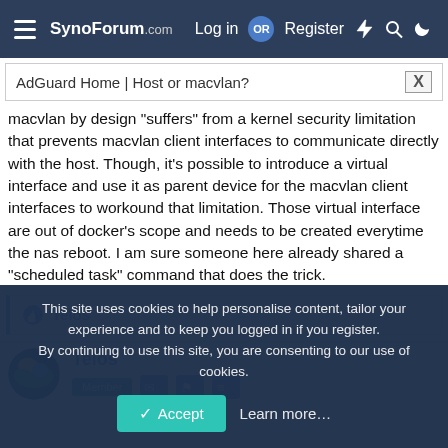SynoForum.com — Log in OR Register
AdGuard Home | Host or macvlan?
macvlan by design "suffers" from a kernel security limitation that prevents macvlan client interfaces to communicate directly with the host. Though, it's possible to introduce a virtual interface and use it as parent device for the macvlan client interfaces to workound that limitation. Those virtual interface are out of docker's scope and needs to be created everytime the nas reboot. I am sure someone here already shared a "scheduled task" command that does the trick.
Telos
Telos
This site uses cookies to help personalise content, tailor your experience and to keep you logged in if you register.
By continuing to use this site, you are consenting to our use of cookies.